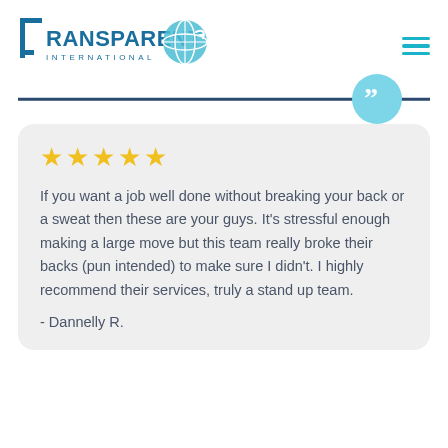[Figure (logo): Transparent International logo with globe icon]
If you want a job well done without breaking your back or a sweat then these are your guys. It's stressful enough making a large move but this team really broke their backs (pun intended) to make sure I didn't. I highly recommend their services, truly a stand up team.

- Dannelly R.